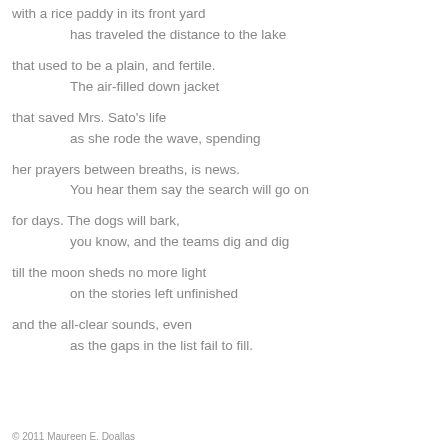with a rice paddy in its front yard
    has traveled the distance to the lake

that used to be a plain, and fertile.
    The air-filled down jacket

that saved Mrs. Sato's life
    as she rode the wave, spending

her prayers between breaths, is news.
    You hear them say the search will go on

for days. The dogs will bark,
    you know, and the teams dig and dig

till the moon sheds no more light
    on the stories left unfinished

and the all-clear sounds, even
    as the gaps in the list fail to fill.
© 2011 Maureen E. Doallas